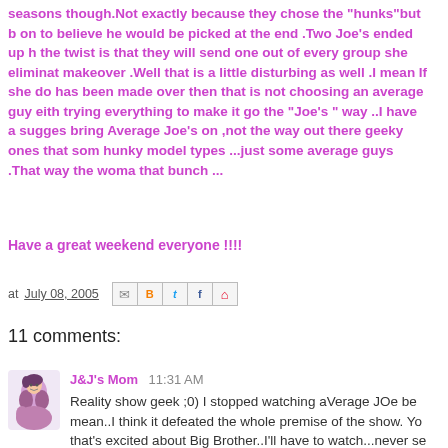seasons though.Not exactly because they chose the "hunks"but b on to believe he would be picked at the end .Two Joe's ended up h the twist is that they will send one out of every group she eliminat makeover .Well that is a little disturbing as well .I mean If she do has been made over then that is not choosing an average guy eith trying everything to make it go the "Joe's " way ..I have a sugges bring Average Joe's on ,not the way out there geeky ones that som hunky model types ...just some average guys .That way the woma that bunch ...
Have a great weekend everyone !!!!
at July 08, 2005
11 comments:
J&J's Mom 11:31 AM
Reality show geek ;0) I stopped watching aVerage JOe be mean..I think it defeated the whole premise of the show. Yo that's excited about Big Brother..I'll have to watch...never se myself. Can't wait for "So You Think You Can Dance?" mysel